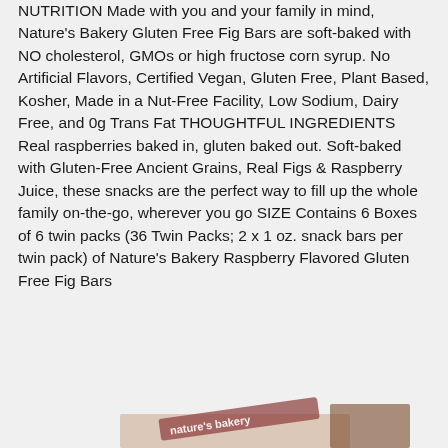NUTRITION Made with you and your family in mind, Nature's Bakery Gluten Free Fig Bars are soft-baked with NO cholesterol, GMOs or high fructose corn syrup. No Artificial Flavors, Certified Vegan, Gluten Free, Plant Based, Kosher, Made in a Nut-Free Facility, Low Sodium, Dairy Free, and 0g Trans Fat THOUGHTFUL INGREDIENTS Real raspberries baked in, gluten baked out. Soft-baked with Gluten-Free Ancient Grains, Real Figs & Raspberry Juice, these snacks are the perfect way to fill up the whole family on-the-go, wherever you go SIZE Contains 6 Boxes of 6 twin packs (36 Twin Packs; 2 x 1 oz. snack bars per twin pack) of Nature's Bakery Raspberry Flavored Gluten Free Fig Bars
[Figure (photo): Partial product image of Nature's Bakery Raspberry Flavored Gluten Free Fig Bars packaging, visible at the bottom of the page]